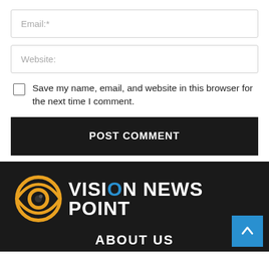Email:*
Website:
Save my name, email, and website in this browser for the next time I comment.
POST COMMENT
[Figure (logo): Vision News Point logo: orange eye icon with text 'VISION NEWS POINT' in white bold, 'O' in blue]
ABOUT US